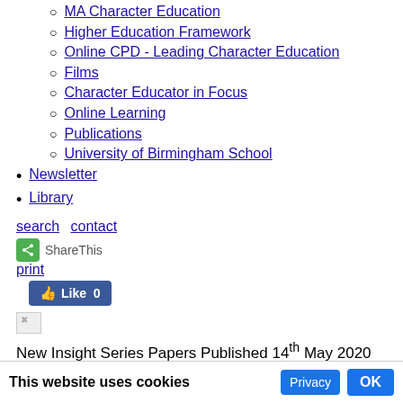MA Character Education
Higher Education Framework
Online CPD - Leading Character Education
Films
Character Educator in Focus
Online Learning
Publications
University of Birmingham School
Newsletter
Library
search contact
[Figure (screenshot): ShareThis social sharing button with green icon]
print
[Figure (screenshot): Facebook Like button showing Like 0]
[Figure (photo): Small broken/placeholder image]
New Insight Series Papers Published 14th May 2020 Publications
The Centre has recently published three new papers as part of its Insight Series.
Deputy Director Professor Kristján Kristjánsson has published a paper on emotion education, A Theoretical Review of Ten Emotions in Moral Education. This paper was written in 2017 for a handbook that is the and failed — consequently,
This website uses cookies